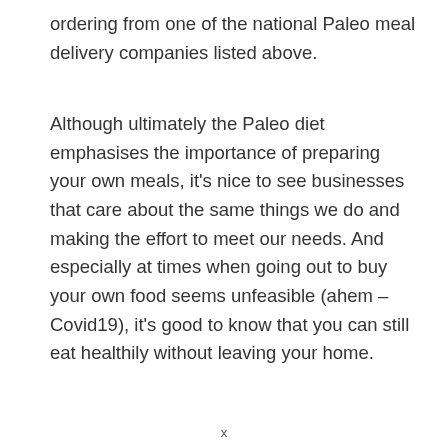ordering from one of the national Paleo meal delivery companies listed above.
Although ultimately the Paleo diet emphasises the importance of preparing your own meals, it's nice to see businesses that care about the same things we do and making the effort to meet our needs. And especially at times when going out to buy your own food seems unfeasible (ahem – Covid19), it's good to know that you can still eat healthily without leaving your home.
x